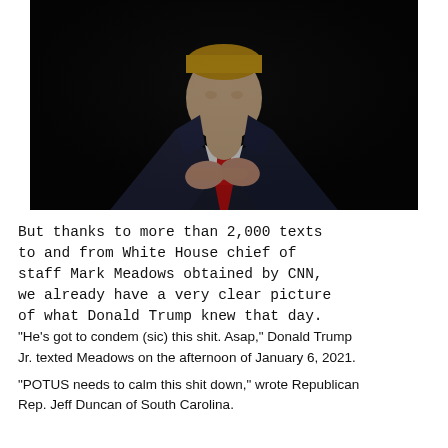[Figure (photo): A man in a dark navy suit with a red tie, standing against a black background with hands clasped together at chest level, visible from roughly the waist up.]
But thanks to more than 2,000 texts to and from White House chief of staff Mark Meadows obtained by CNN, we already have a very clear picture of what Donald Trump knew that day. “He’s got to condem (sic) this shit. Asap,” Donald Trump Jr. texted Meadows on the afternoon of January 6, 2021.
“POTUS needs to calm this shit down,” wrote Republican Rep. Jeff Duncan of South Carolina.